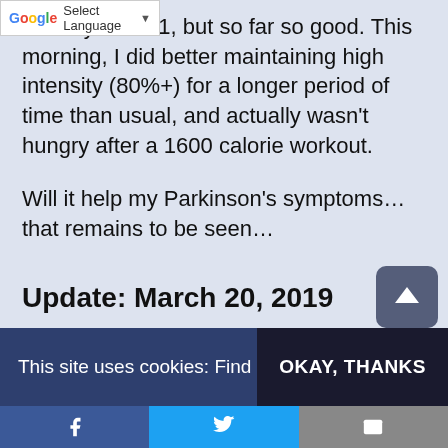it's only week 1, but so far so good. This morning, I did better maintaining high intensity (80%+) for a longer period of time than usual, and actually wasn't hungry after a 1600 calorie workout.
Will it help my Parkinson's symptoms…that remains to be seen…
Update: March 20, 2019
First an update...today is day 10 of my intermittent fasting (IF) experiment (see more detail in the
This site uses cookies: Find
OKAY, THANKS